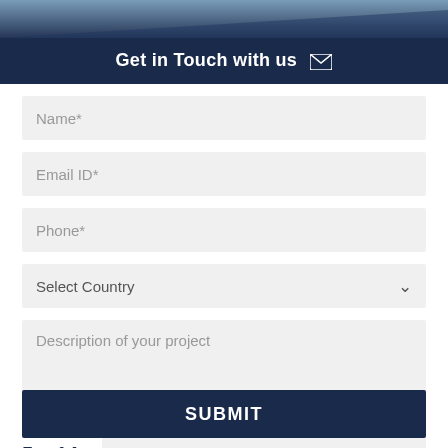[Figure (photo): Dark blue and grey decorative header image]
Get in Touch with us ✉
Name*
Email ID*
Phone*
Select Country
Description of your project
5 + 14   Answer :
SUBMIT